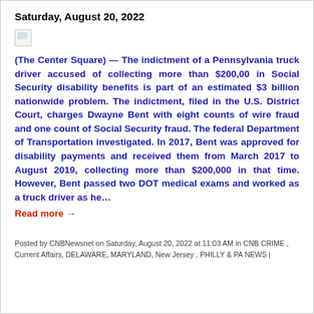Saturday, August 20, 2022
[Figure (photo): Broken/missing image placeholder icon]
(The Center Square) — The indictment of a Pennsylvania truck driver accused of collecting more than $200,00 in Social Security disability benefits is part of an estimated $3 billion nationwide problem. The indictment, filed in the U.S. District Court, charges Dwayne Bent with eight counts of wire fraud and one count of Social Security fraud. The federal Department of Transportation investigated. In 2017, Bent was approved for disability payments and received them from March 2017 to August 2019, collecting more than $200,000 in that time. However, Bent passed two DOT medical exams and worked as a truck driver as he...
Read more →
Posted by CNBNewsnet on Saturday, August 20, 2022 at 11:03 AM in CNB CRIME , Current Affairs, DELAWARE, MARYLAND, New Jersey , PHILLY & PA NEWS |